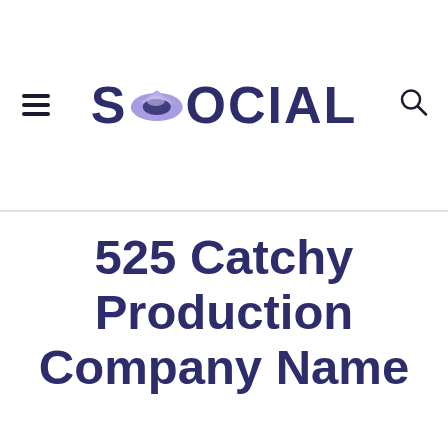SOOCIAL
525 Catchy Production Company Name